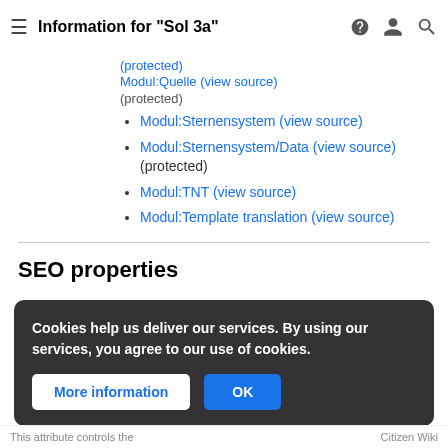Information for "Sol 3a"
(protected)
Modul:Quelle (view source) (protected)
Modul:Sternensystem (view source)
Modul:Sternensystem/Data (view source) (protected)
Modul:TNT (view source)
Modul:Template translation (view source)
SEO properties
Cookies help us deliver our services. By using our services, you agree to our use of cookies.
This attribute controls the  Citizen Wiki